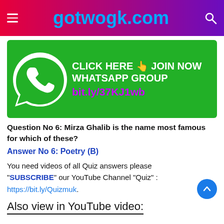gotwogk.com
[Figure (infographic): WhatsApp group join banner: green background with WhatsApp logo, text CLICK HERE 👆 JOIN NOW WHATSAPP GROUP bit.ly/37KJ1wb]
Question No 6: Mirza Ghalib is the name most famous for which of these?
Answer No 6: Poetry (B)
You need videos of all Quiz answers please "SUBSCRIBE" our YouTube Channel "Quiz" : https://bit.ly/Quizmuk.
Also view in YouTube video: